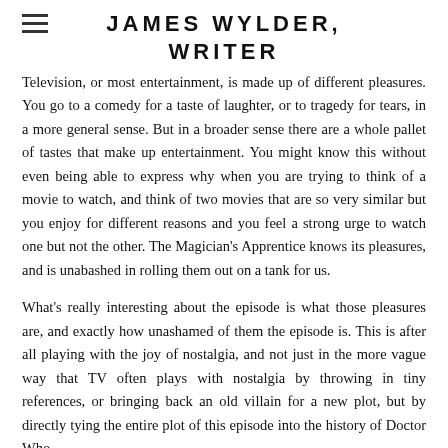JAMES WYLDER, WRITER
Television, or most entertainment, is made up of different pleasures. You go to a comedy for a taste of laughter, or to tragedy for tears, in a more general sense. But in a broader sense there are a whole pallet of tastes that make up entertainment. You might know this without even being able to express why when you are trying to think of a movie to watch, and think of two movies that are so very similar but you enjoy for different reasons and you feel a strong urge to watch one but not the other. The Magician's Apprentice knows its pleasures, and is unabashed in rolling them out on a tank for us.
What's really interesting about the episode is what those pleasures are, and exactly how unashamed of them the episode is. This is after all playing with the joy of nostalgia, and not just in the more vague way that TV often plays with nostalgia by throwing in tiny references, or bringing back an old villain for a new plot, but by directly tying the entire plot of this episode into the history of Doctor Who.